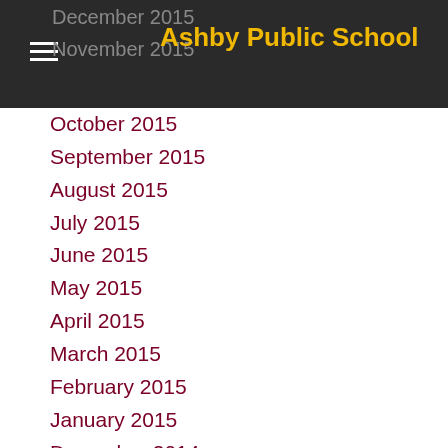Ashby Public School
December 2015
November 2015
October 2015
September 2015
August 2015
July 2015
June 2015
May 2015
April 2015
March 2015
February 2015
January 2015
December 2014
November 2014
October 2014
September 2014
August 2014
July 2014
June 2014